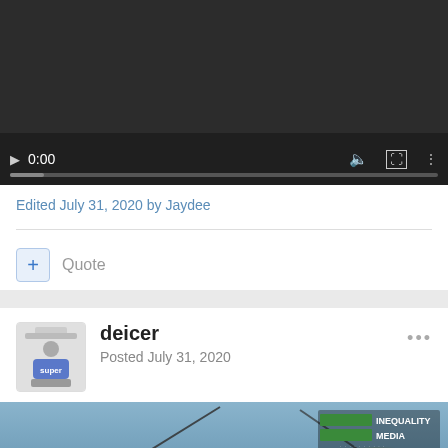[Figure (screenshot): Video player with dark background, play button, time 0:00, volume/fullscreen/more icons, and progress bar]
Edited July 31, 2020 by Jaydee
+ Quote
deicer
Posted July 31, 2020
[Figure (screenshot): Aerial photo with Inequality Media logo in top right corner]